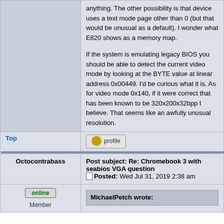anything. The other possibility is that device uses a text mode page other than 0 (but that would be unusual as a default). I wonder what E820 shows as a memory map.

If the system is emulating legacy BIOS you should be able to detect the current video mode by looking at the BYTE value at linear address 0x00449. I'd be curious what it is. As for video mode 0x140, if it were correct that has been known to be 320x200x32bpp I believe. That seems like an awfully unusual resolution.
Top
profile
Post subject: Re: Chromebook 3 with seabios VGA question
Posted: Wed Jul 31, 2019 2:38 am
Octocontrabass
online
Member
MichaelPetch wrote: